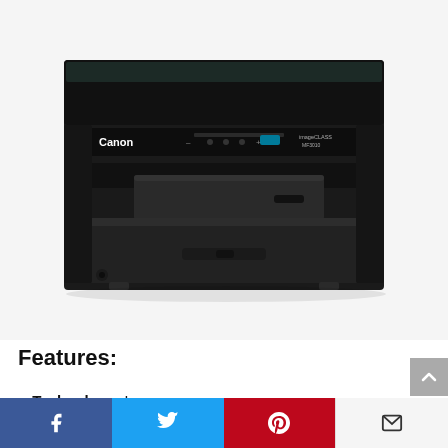[Figure (photo): Canon imageCLASS MF3010 black multifunction laser printer, front view showing paper tray, control panel with Canon logo and imageCLASS branding on a white/light gray background]
Features:
Technology: Laser
[partially visible — cut off at bottom]
Social share bar: Facebook, Twitter, Pinterest, Email